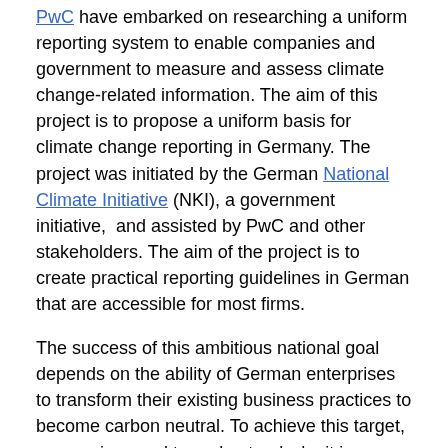PwC have embarked on researching a uniform reporting system to enable companies and government to measure and assess climate change-related information. The aim of this project is to propose a uniform basis for climate change reporting in Germany. The project was initiated by the German National Climate Initiative (NKI), a government initiative, and assisted by PwC and other stakeholders. The aim of the project is to create practical reporting guidelines in German that are accessible for most firms.
The success of this ambitious national goal depends on the ability of German enterprises to transform their existing business practices to become carbon neutral. To achieve this target, companies need to understand why it is important, for the national economy and for the private sector, to reach carbon neutrality. Furthermore, businesses need to be able to evaluate and understand their existing GHG emissions before undertaking reduction measures.
However, information produced on climate change is complex